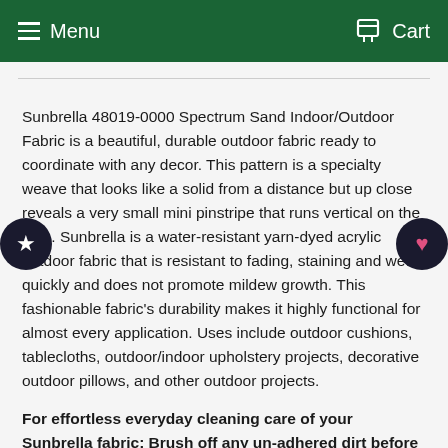Menu  Cart
Sunbrella 48019-0000 Spectrum Sand Indoor/Outdoor Fabric is a beautiful, durable outdoor fabric ready to coordinate with any decor. This pattern is a specialty weave that looks like a solid from a distance but up close reveals a very small mini pinstripe that runs vertical on the bolt . Sunbrella is a water-resistant yarn-dyed acrylic outdoor fabric that is resistant to fading, staining and wets quickly and does not promote mildew growth. This fashionable fabric's durability makes it highly functional for almost every application. Uses include outdoor cushions, tablecloths, outdoor/indoor upholstery projects, decorative outdoor pillows, and other outdoor projects.
For effortless everyday cleaning care of your Sunbrella fabric: Brush off any un-adhered dirt before it becomes affixed to the fabric.  Clean up splatter or spills as soon as they happen, and spot-clean fabric before stains are allowed to affix to the